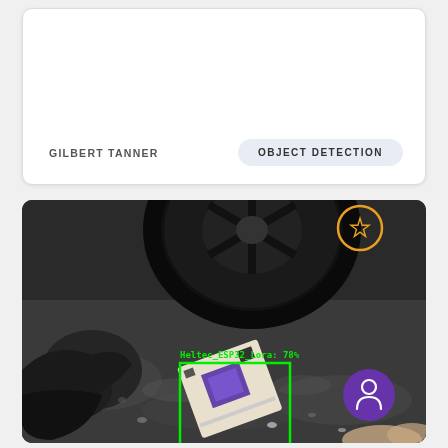GILBERT TANNER
OBJECT DETECTION
[Figure (photo): Aerial/overhead photo showing a robot wheel on dark wet ground, with a small electronics board (Heltec ESP32 Lora) detected and highlighted by a green bounding box labeled 'Heltec_ESP32_Lora: 78%'. An orange star icon and a purple person/user icon are visible as UI overlays.]